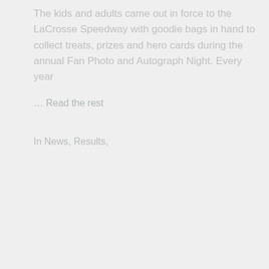The kids and adults came out in force to the LaCrosse Speedway with goodie bags in hand to collect treats, prizes and hero cards during the annual Fan Photo and Autograph Night. Every year
... Read the rest
In News, Results,